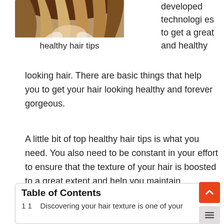[Figure (photo): Photo of a woman with long brown/blonde hair, cropped to show hair and partial face from above]
healthy hair tips
developed technologies to get a great and healthy looking hair. There are basic things that help you to get your hair looking healthy and forever gorgeous.
A little bit of top healthy hair tips is what you need. You also need to be constant in your effort to ensure that the texture of your hair is boosted to a great extent and help you maintain beautiful, strong and healthy looking hair.
Table of Contents
1   1      Discovering your hair texture is one of your